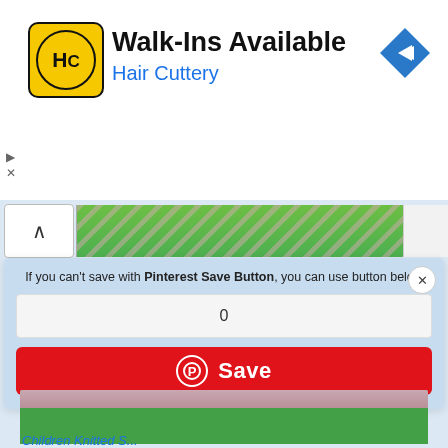[Figure (screenshot): Hair Cuttery advertisement banner with yellow logo showing 'HC', text 'Walk-Ins Available' and 'Hair Cuttery', and a blue navigation arrow icon on the right.]
[Figure (screenshot): Pinterest save dialog popup on a light blue background. Text reads: 'If you can't save with Pinterest Save Button, you can use button below'. Below is an input field showing '0' and a red Save button with Pinterest logo.]
[Figure (photo): Photo of a pink/white crochet fabric edge with ruffled border on a green background.]
Children Knitted S...